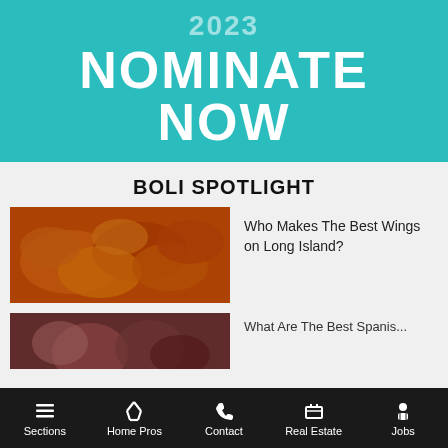[Figure (illustration): Teal/cyan banner with '2023' in large faded white text and 'NOMINATE NOW' in bold white uppercase text below]
BOLI SPOTLIGHT
[Figure (photo): Close-up photo of glazed/sauced chicken wings]
Who Makes The Best Wings on Long Island?
[Figure (photo): Photo of people, partially visible, cropped at bottom]
What Are The Best Spanish...
Sections  Home Pros  Contact  Real Estate  Jobs